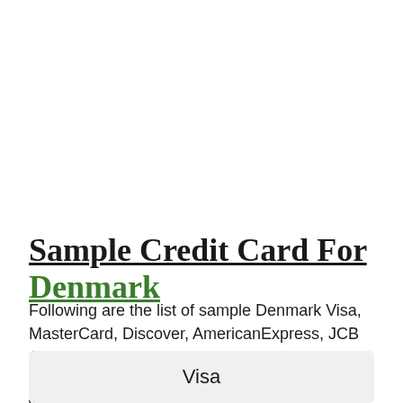Sample Credit Card For Denmark
Following are the list of sample Denmark Visa, MasterCard, Discover, AmericanExpress, JCB Credit card numbers which you can use any Denmark website to bypass registration process where you don't want to reveal your real Denmark Credit Card Details.
Visa